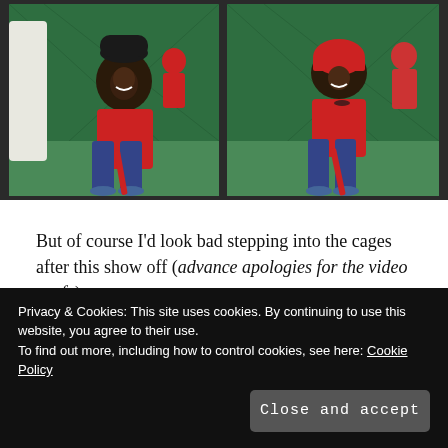[Figure (photo): Two side-by-side photos of a smiling woman in a red t-shirt and jeans holding a red baseball bat in a batting cage with green turf, surrounded by other people in red shirts.]
But of course I'd look bad stepping into the cages after this show off (advance apologies for the video snafu):
Privacy & Cookies: This site uses cookies. By continuing to use this website, you agree to their use.
To find out more, including how to control cookies, see here: Cookie Policy
Close and accept